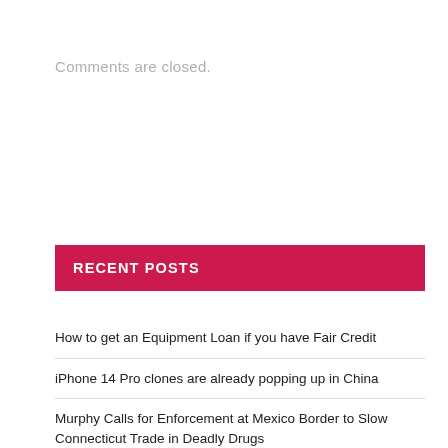Comments are closed.
RECENT POSTS
How to get an Equipment Loan if you have Fair Credit
iPhone 14 Pro clones are already popping up in China
Murphy Calls for Enforcement at Mexico Border to Slow Connecticut Trade in Deadly Drugs
To win the war on drugs, we must end it
HAGENS BERMAN, NATIONAL TRIAL ATTORNEYS, encourages Tuya